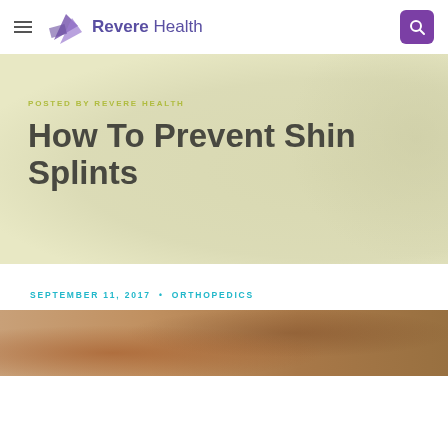Revere Health
POSTED BY REVERE HEALTH
How To Prevent Shin Splints
SEPTEMBER 11, 2017 • ORTHOPEDICS
[Figure (photo): Photo of a person's legs/feet related to shin splints, running or orthopedics context]